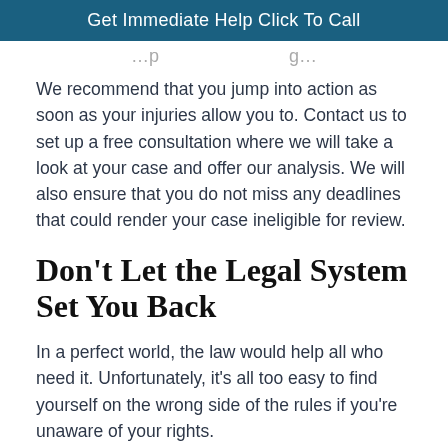Get Immediate Help Click To Call
…p…g…
We recommend that you jump into action as soon as your injuries allow you to. Contact us to set up a free consultation where we will take a look at your case and offer our analysis. We will also ensure that you do not miss any deadlines that could render your case ineligible for review.
Don't Let the Legal System Set You Back
In a perfect world, the law would help all who need it. Unfortunately, it's all too easy to find yourself on the wrong side of the rules if you're unaware of your rights.